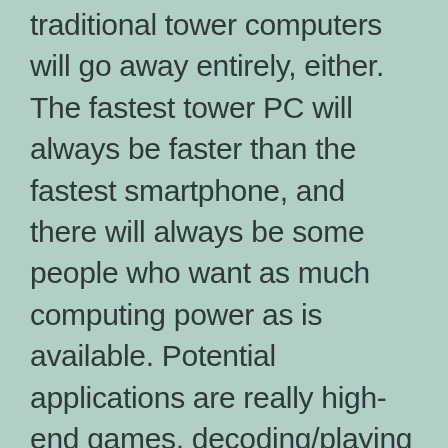traditional tower computers will go away entirely, either. The fastest tower PC will always be faster than the fastest smartphone, and there will always be some people who want as much computing power as is available. Potential applications are really high-end games, decoding/playing of absurdly hi-definition movies, and things that you'd use a server for, like serving of services, and also simulation and brute force cryptanalysis. I think it's likely, though, that the smartphone-plus-terminal setup might well become the average user's major computing device.